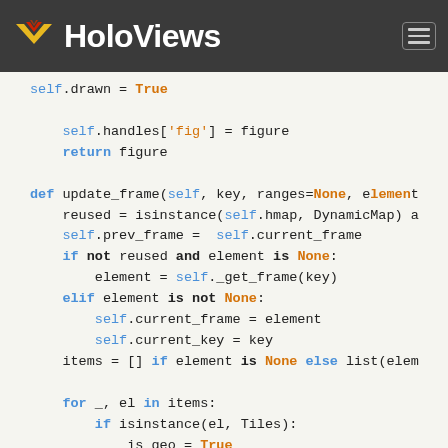HoloViews
Code snippet showing Python source code for update_frame method and surrounding code in HoloViews library